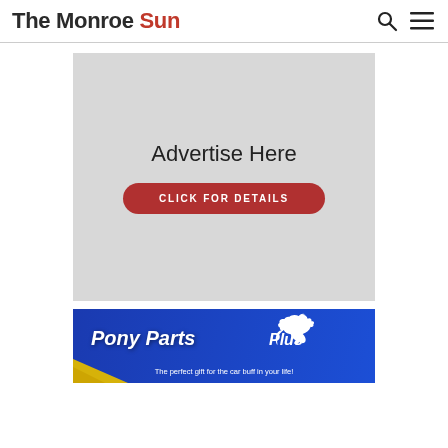The Monroe Sun
[Figure (infographic): Gray advertisement placeholder box with text 'Advertise Here' and a red rounded-rectangle button labeled 'CLICK FOR DETAILS']
[Figure (infographic): Pony Parts Plus advertisement banner on blue background with white horse logo, italic brand name, and tagline 'The perfect gift for the car buff in your life!']